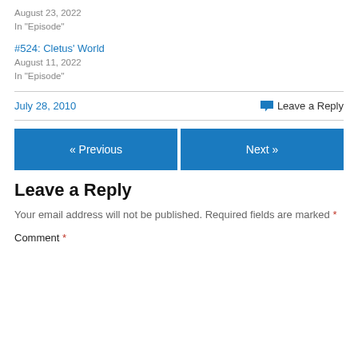August 23, 2022
In "Episode"
#524: Cletus' World
August 11, 2022
In "Episode"
July 28, 2010    Leave a Reply
« Previous    Next »
Leave a Reply
Your email address will not be published. Required fields are marked *
Comment *